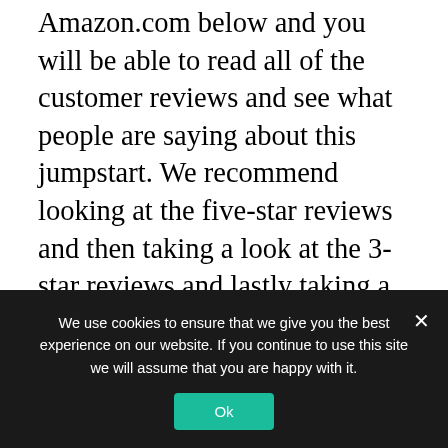Amazon.com below and you will be able to read all of the customer reviews and see what people are saying about this jumpstart. We recommend looking at the five-star reviews and then taking a look at the 3-star reviews and lastly taking a look at the one star reviews to see what people didn't like about this jumpstart.
We also recommend having a prime account because if you do so also get superfast delivery and...
We use cookies to ensure that we give you the best experience on our website. If you continue to use this site we will assume that you are happy with it.